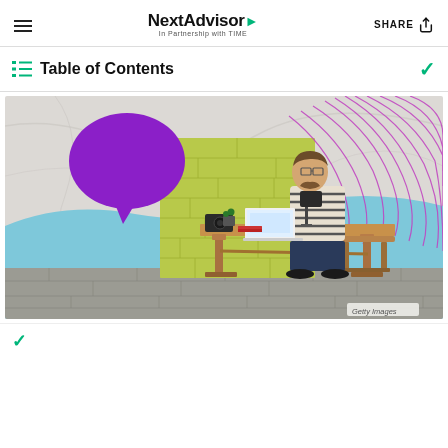NextAdvisor In Partnership with TIME
Table of Contents
[Figure (photo): Person sitting at a wooden desk working on a laptop, with a large purple speech bubble graphic, yellow brick wall background, blue wave illustration, purple curving lines on the right, and a grey stone/floor in the foreground. Getty Images watermark in bottom right.]
Getty Images